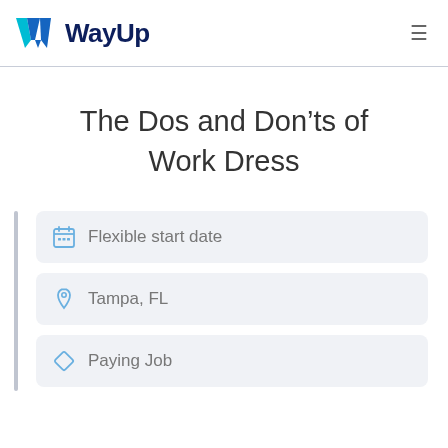[Figure (logo): WayUp logo with W icon in teal/blue gradient and dark blue WayUp text]
The Dos and Don’ts of Work Dress
Flexible start date
Tampa, FL
Paying Job